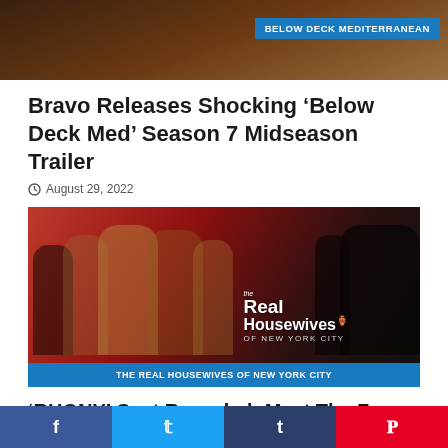[Figure (photo): Top image showing a dark scene with 'BELOW DECK MEDITERRANEAN' badge overlay]
Bravo Releases Shocking ‘Below Deck Med’ Season 7 Midseason Trailer
August 29, 2022
[Figure (photo): The Real Housewives of New York City cast photo with show logo and 'THE REAL HOUSEWIVES OF NEW YORK CITY' banner at bottom]
‘RHONY’ Cast Revealed: Meet The Four Women
Facebook Twitter Tumblr Pinterest